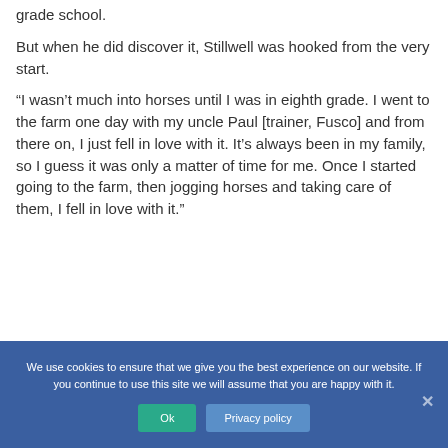grade school.
But when he did discover it, Stillwell was hooked from the very start.
“I wasn’t much into horses until I was in eighth grade. I went to the farm one day with my uncle Paul [trainer, Fusco] and from there on, I just fell in love with it. It’s always been in my family, so I guess it was only a matter of time for me. Once I started going to the farm, then jogging horses and taking care of them, I fell in love with it.”
We use cookies to ensure that we give you the best experience on our website. If you continue to use this site we will assume that you are happy with it.